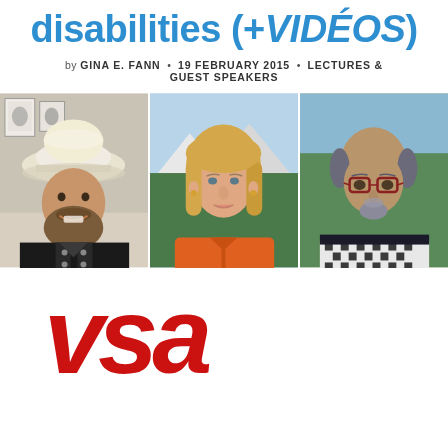disabilities (+VIDÉOS)
by GINA E. FANN • 19 FEBRUARY 2015 • LECTURES & GUEST SPEAKERS
[Figure (photo): Three portrait photos side by side: man in white cowboy hat and black jacket smiling; woman with blonde hair wearing orange jacket; bald man with glasses and patterned scarf.]
[Figure (logo): VSA logo in large bold red italic letters]